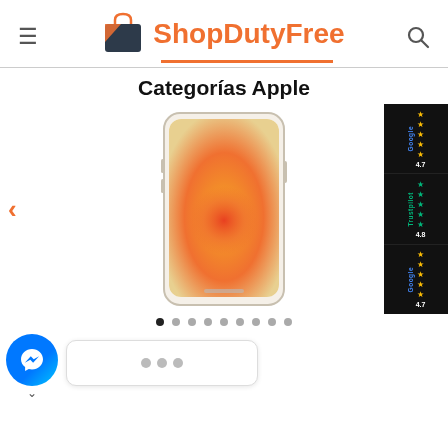[Figure (logo): ShopDutyFree logo with shopping bag icon, orange and dark text, orange underline]
Categorías Apple
[Figure (photo): Apple iPhone 12 in white/gold color displayed vertically with orange gradient wallpaper]
[Figure (infographic): Google rating 4.7 stars panel on right side]
[Figure (infographic): Trustpilot rating 4.8 stars panel on right side]
[Figure (infographic): Google rating 4.7 stars panel on right side (second)]
[Figure (screenshot): Facebook Messenger chat button and chat popup with three dots at bottom left]